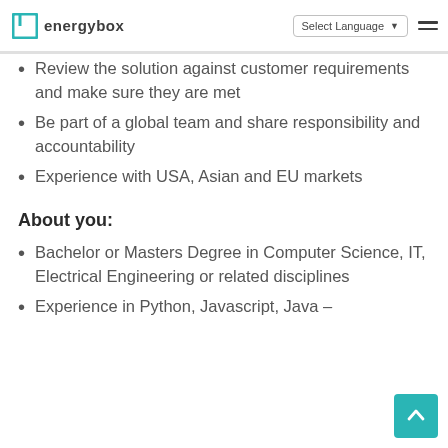energybox | Select Language
Review the solution against customer requirements and make sure they are met
Be part of a global team and share responsibility and accountability
Experience with USA, Asian and EU markets
About you:
Bachelor or Masters Degree in Computer Science, IT, Electrical Engineering or related disciplines
Experience in Python, Javascript, Java –